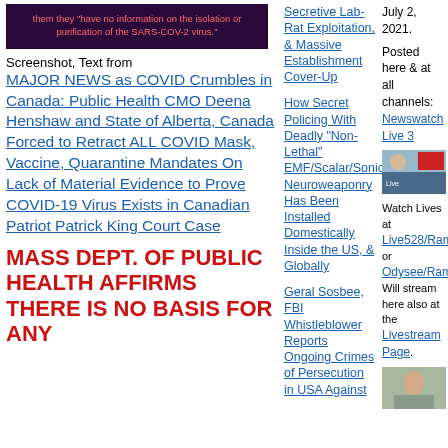[Figure (screenshot): Dark purple screenshot box with red text: 'them they "have no information on the isolation or purification of the SARS-COV-2 virus."']
Screenshot, Text from MAJOR NEWS as COVID Crumbles in Canada: Public Health CMO Deena Henshaw and State of Alberta, Canada Forced to Retract ALL COVID Mask, Vaccine, Quarantine Mandates On Lack of Material Evidence to Prove COVID-19 Virus Exists in Canadian Patriot Patrick King Court Case
MASS DEPT. OF PUBLIC HEALTH AFFIRMS THERE IS NO BASIS FOR ANY
Secretive Lab-Rat Exploitation, & Massive Establishment Cover-Up
How Secret Policing With Deadly "Non-Lethal" EMF/Scalar/Sonic Neuroweaponry Has Been Installed Domestically Inside the US, & Globally
Geral Sosbee, FBI Whistleblower Reports Ongoing Crimes of Persecution in USA Against
July 2, 2021.
Posted here & at all channels: Newswatch Live 3
Watch Lives at Live528/Ram or Odysee/Ram Will stream here also at the Livestream Page.
[Figure (photo): Thumbnail image of a video/article with people and red/white graphic elements]
[Figure (photo): Thumbnail image of a person, appears to be a video still]